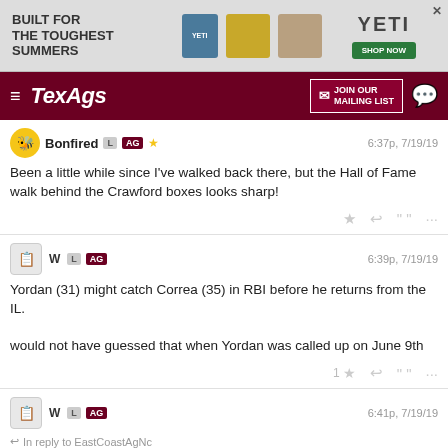[Figure (other): YETI advertisement banner: 'BUILT FOR THE TOUGHEST SUMMERS' with YETI logo and green SHOP NOW button]
TexAgs | JOIN OUR MAILING LIST
Bonfired L AG ★  6:37p, 7/19/19
Been a little while since I've walked back there, but the Hall of Fame walk behind the Crawford boxes looks sharp!
W L AG  6:39p, 7/19/19
Yordan (31) might catch Correa (35) in RBI before he returns from the IL.

would not have guessed that when Yordan was called up on June 9th
W L AG  6:41p, 7/19/19
In reply to EastCoastAgNc
the Angels front office is really bad. Harvey was their big free agent signing for their starting rotation last offseason. Paid him a cool $11 MM for less than 4 months of work